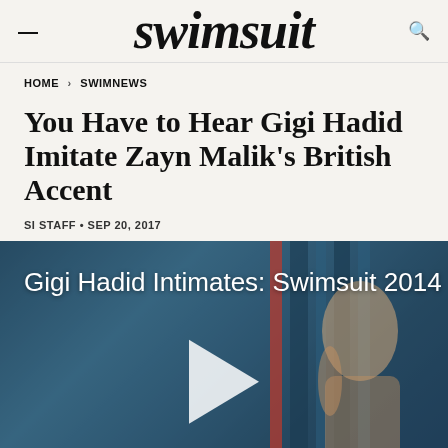swimsuit
HOME › SWIMNEWS
You Have to Hear Gigi Hadid Imitate Zayn Malik's British Accent
SI STAFF • SEP 20, 2017
[Figure (screenshot): Video thumbnail showing a woman with blonde hair in a blue-toned setting with vertical strips in background. White play button triangle overlaid in center. Text overlay reads 'Gigi Hadid Intimates: Swimsuit 2014']